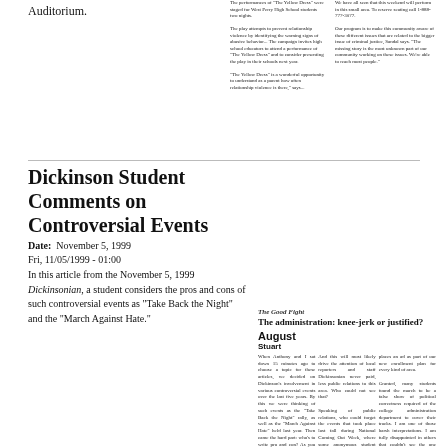Auditorium.
The performances of "The Yellow Dress" were staged for West Perry High School students two nights.
The play attempts to prevent relationship violence by identifying the warning signs of abusive behavior... The campaign invites high school educators to attend a performance of "The Yellow Dress" and to consider presenting the play in their schools next year. "The Yellow Dress" is a wonderful opportunity to understand as a parent how often relationship violence is there," says...
We have all seen that this weekend will perform in this small area. Interest for this week. Call 1-888-777-3077...
Dickinson Student Comments on Controversial Events
Date:  November 5, 1999
Fri, 11/05/1999 - 01:00
In this article from the November 5, 1999 Dickinsonian, a student considers the pros and cons of such controversial events as "Take Back the Night" and the "March Against Hate."
The Good Fight
The administration: knee-jerk or justified?
August Stuart
When Anthony and I sat down 15 minutes ago to choose a topic for these articles, we decided on Dickinson's involvement in various controversial events over the last five years. By this we were thinking of such events as the "Take Back the Night" rally, as well as the "March Against Hate" held last year. Then came the hard part: who's to write pro and con? As you may know us, I drew the short straw.

First let me speak on the "Take Back the Night" rally, to be held next Monday night as part of Sexual Assault Awareness Week. I think everyone can agree on being in agreement that sexual assault to the lowest extent possible the topic is not in question but the manner in which it is being introduced to the students. Granted, the people for this event do so in compassion for same as potentially degrading to women with the female form named routines one of which is, to be blunt, phallic figure. However where is the line drawn...
And this will most likely drive the attention of local reporters and staff Dickinsonian never paid, less public relations to this area. Who could not see that?

Speaking of public relations, who could forget the events that took place last fall during National Coming Out Week, where some anonymous student posted anti-gay biblical quotes all over the HUB one morning. The shock came when people woke up and saw these immensely hateful messages spread through the public campus and even throughout central Pennsylvania making the frontpage of the Harrisburg Flyer. In short it was a public relations nightmare. Such rallies therefore come up in so very one following summer asking: "What the hell kind of school/campus is this?" Do you get it?

Those levels of Dickinsonian is a tricky and land, and depends on the reputation for tolerance and acceptance to attract students. Heck, that one of the things that should be in a school is the fact that students would be themselves; but to the record whether you are a great size of campus. Now just a few students, possibly to recruit student alums, but given all of those years Pennsylvania this might working the bottom may much hard of...
places an ad as part of our new enrollment plan for every kind of area.

Granted, many students found the march to be a false show of political correctness required of the college administration department to cover their tracks. I am one of those harsh interpretations. I am fully disappointed in others that couldn't see the one simple reason. It was terribly important for the school to make it clear that these few represent do not represent the majority of the campus.

I guess one of the main points I'm trying to make here is that Dickinson like universities and other colleges depend on reputation for applications and, eventually, tuition-based funding. If the College brand and student union, fundraising, and playing (a) a role being in academic, both in standing among other colleges and in funding will drop, promising only more decline, at both terms as a result of a few or more applicants. Loss is at no events such as the "Take Back the Night" rally or "March Against Hate" contributes to the positive image of our school as a whole, and could possibly even better the record of successfully enrolled at our institution.